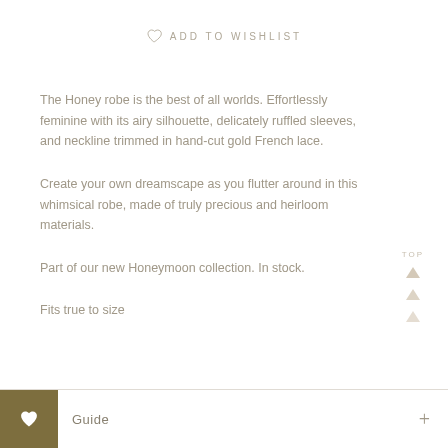ADD TO WISHLIST
The Honey robe is the best of all worlds. Effortlessly feminine with its airy silhouette, delicately ruffled sleeves, and neckline trimmed in hand-cut gold French lace.
Create your own dreamscape as you flutter around in this whimsical robe, made of truly precious and heirloom materials.
Part of our new Honeymoon collection. In stock.
Fits true to size
Guide